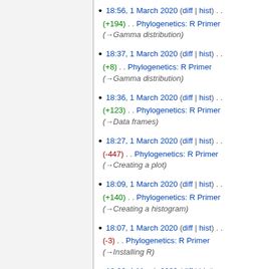18:56, 1 March 2020 (diff | hist) . . (+194) . . Phylogenetics: R Primer (→Gamma distribution)
18:37, 1 March 2020 (diff | hist) . . (+8) . . Phylogenetics: R Primer (→Gamma distribution)
18:36, 1 March 2020 (diff | hist) . . (+123) . . Phylogenetics: R Primer (→Data frames)
18:27, 1 March 2020 (diff | hist) . . (-447) . . Phylogenetics: R Primer (→Creating a plot)
18:09, 1 March 2020 (diff | hist) . . (+140) . . Phylogenetics: R Primer (→Creating a histogram)
18:07, 1 March 2020 (diff | hist) . . (-3) . . Phylogenetics: R Primer (→Installing R)
18:06, 1 March 2020 (diff | hist) . . (+192) . . Phylogenetics: R Primer